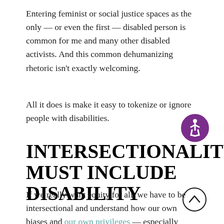Entering feminist or social justice spaces as the only — or even the first — disabled person is common for me and many other disabled activists. And this common dehumanizing rhetoric isn't exactly welcoming.
All it does is make it easy to tokenize or ignore people with disabilities.
[Figure (illustration): Purple circular accessibility icon (wheelchair person symbol) on white background]
INTERSECTIONALITY MUST INCLUDE DISABILITY
[Figure (illustration): Black outlined circle with upward chevron arrow inside (scroll to top button)]
If we really want equity for all, we have to be intersectional and understand how our own biases and our own privileges — especially when unchecked